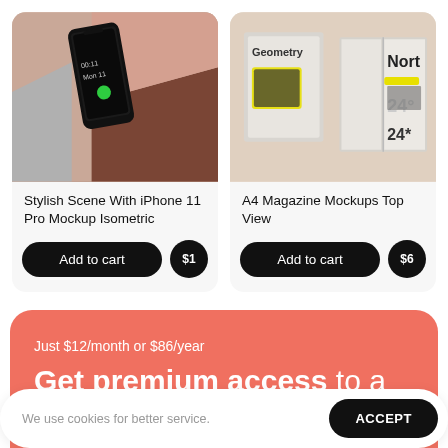[Figure (photo): Stylish scene with iPhone 11 Pro mockup isometric on geometric blocks with brown and pink tones]
Stylish Scene With iPhone 11 Pro Mockup Isometric
Add to cart
$1
[Figure (photo): A4 Magazine mockups top view showing Geometry magazine cover and open book spread]
A4 Magazine Mockups Top View
Add to cart
$6
Just $12/month or $86/year
Get premium access to a growing library of...
We use cookies for better service.
ACCEPT